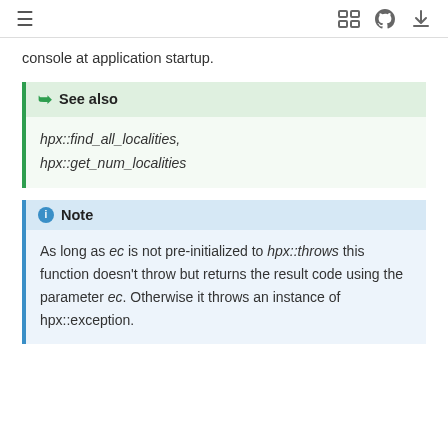≡  [icons: fullscreen, github, download]
console at application startup.
See also
hpx::find_all_localities, hpx::get_num_localities
Note
As long as ec is not pre-initialized to hpx::throws this function doesn't throw but returns the result code using the parameter ec. Otherwise it throws an instance of hpx::exception.